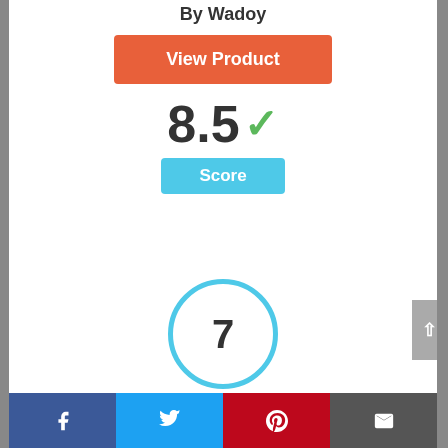By Wadoy
[Figure (other): Orange 'View Product' button]
8.5 ✓
Score
[Figure (other): Circle badge with number 7]
[Figure (photo): Product image thumbnail]
Facebook | Twitter | Pinterest | Email share bar